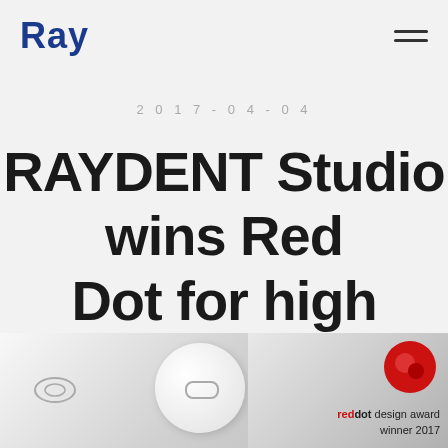Ray
2017-04-04
RAYDENT Studio wins Red Dot for high quality design
-
[Figure (photo): Product photo showing a white circular dental device on grey background alongside a Red Dot design award winner 2017 logo badge]